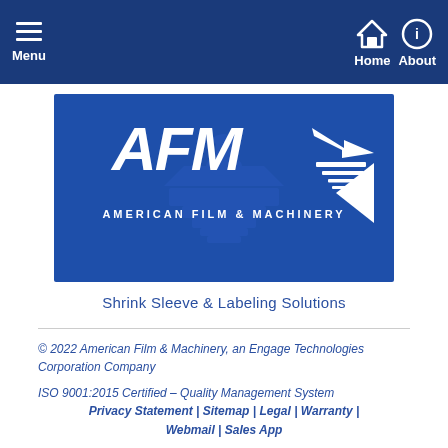Menu | Home | About
[Figure (logo): AFM American Film & Machinery logo on blue background with machinery graphic]
Shrink Sleeve & Labeling Solutions
© 2022 American Film & Machinery, an Engage Technologies Corporation Company
ISO 9001:2015 Certified – Quality Management System
Privacy Statement | Sitemap | Legal | Warranty | Webmail | Sales App